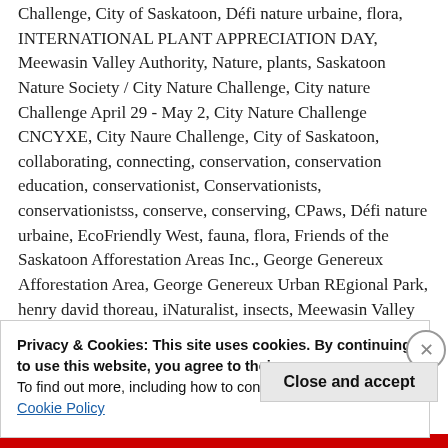Challenge, City of Saskatoon, Défi nature urbaine, flora, INTERNATIONAL PLANT APPRECIATION DAY, Meewasin Valley Authority, Nature, plants, Saskatoon Nature Society / City Nature Challenge, City nature Challenge April 29 - May 2, City Nature Challenge CNCYXE, City Naure Challenge, City of Saskatoon, collaborating, connecting, conservation, conservation education, conservationist, Conservationists, conservationistss, conserve, conserving, CPaws, Défi nature urbaine, EcoFriendly West, fauna, flora, Friends of the Saskatoon Afforestation Areas Inc., George Genereux Afforestation Area, George Genereux Urban REgional Park, henry david thoreau, iNaturalist, insects, Meewasin Valley Authority, mosaic, nature conservancy of Canada, plants, Richard St. Barbe Baker, Richard St. Barbe
Privacy & Cookies: This site uses cookies. By continuing to use this website, you agree to their use.
To find out more, including how to control cookies, see here:
Cookie Policy
Close and accept